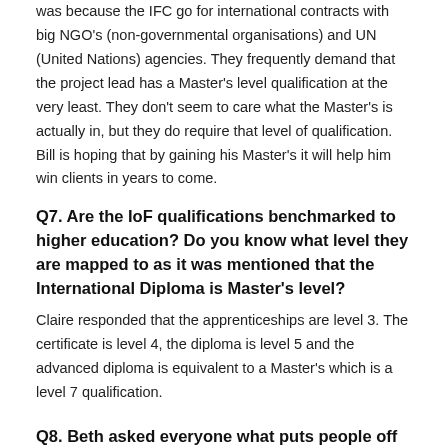was because the IFC go for international contracts with big NGO's (non-governmental organisations) and UN (United Nations) agencies. They frequently demand that the project lead has a Master's level qualification at the very least. They don't seem to care what the Master's is actually in, but they do require that level of qualification. Bill is hoping that by gaining his Master's it will help him win clients in years to come.
Q7. Are the IoF qualifications benchmarked to higher education? Do you know what level they are mapped to as it was mentioned that the International Diploma is Master's level?
Claire responded that the apprenticeships are level 3. The certificate is level 4, the diploma is level 5 and the advanced diploma is equivalent to a Master's which is a level 7 qualification.
Q8. Beth asked everyone what puts people off the qualifications?
Bonnie of Bonnie Clayton Consulting commented that she had